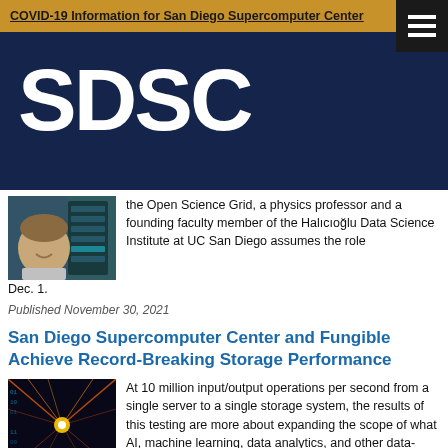COVID-19 Information for San Diego Supercomputer Center
[Figure (logo): SDSC logo on dark navy background with hamburger menu icon]
[Figure (photo): Headshot of a man smiling, with server racks in background]
the Open Science Grid, a physics professor and a founding faculty member of the Halıcıoğlu Data Science Institute at UC San Diego assumes the role Dec. 1.
Published November 30, 2021
San Diego Supercomputer Center and Fungible Achieve Record-Breaking Storage Performance
[Figure (photo): Abstract data/fiber optic light streaks image representing high-speed storage]
At 10 million input/output operations per second from a single server to a single storage system, the results of this testing are more about expanding the scope of what AI, machine learning, data analytics, and other data-centric environments can deliver.